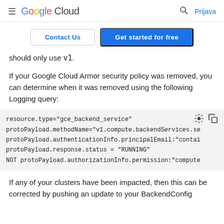Google Cloud  Prijava
Contact Us  Get started for free
should only use v1.
If your Google Cloud Armor security policy was removed, you can determine when it was removed using the following Logging query:
If any of your clusters have been impacted, then this can be corrected by pushing an update to your BackendConfig